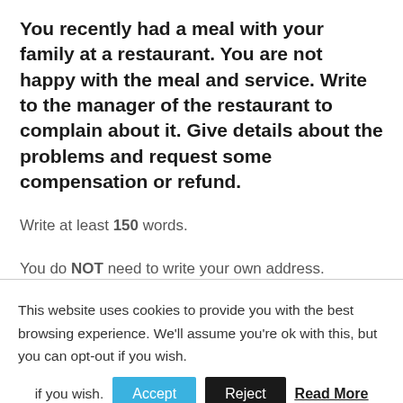You recently had a meal with your family at a restaurant. You are not happy with the meal and service. Write to the manager of the restaurant to complain about it. Give details about the problems and request some compensation or refund.
Write at least 150 words.
You do NOT need to write your own address.
This website uses cookies to provide you with the best browsing experience. We'll assume you're ok with this, but you can opt-out if you wish.